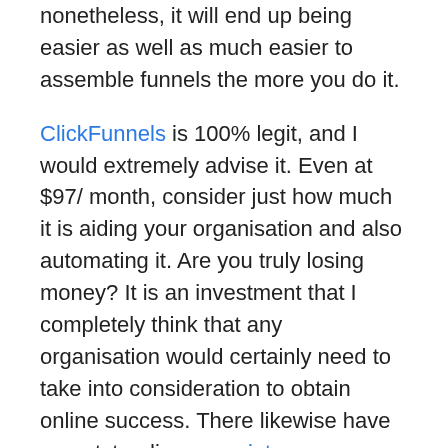nonetheless, it will end up being easier as well as much easier to assemble funnels the more you do it.
ClickFunnels is 100% legit, and I would extremely advise it. Even at $97/ month, consider just how much it is aiding your organisation and also automating it. Are you truly losing money? It is an investment that I completely think that any organisation would certainly need to take into consideration to obtain online success. There likewise have an outstanding associate program, you can visit this site to read more.
So, don’t stress, There is no Click Funnels scam taking place!
If you wish to evaluate drive the Free 2 week Test